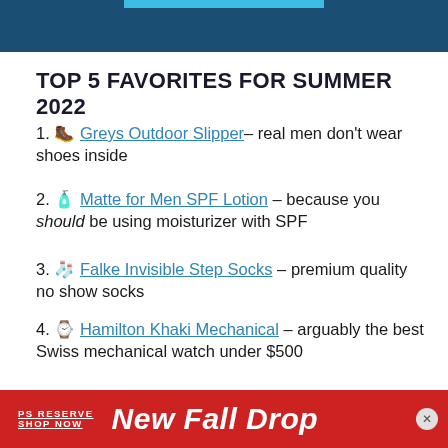[Figure (other): Dark blue header bar with lighter blue accent strip at top center]
TOP 5 FAVORITES FOR SUMMER 2022
🥾 Greys Outdoor Slipper– real men don't wear shoes inside
🧴 Matte for Men SPF Lotion – because you should be using moisturizer with SPF
🧦 Falke Invisible Step Socks – premium quality no show socks
⌚ Hamilton Khaki Mechanical – arguably the best Swiss mechanical watch under $500
👕 Proof 72 Hour Merino Tee – your new favorite t-shirt
[Figure (other): Red advertisement banner: PS RESERVE SHOP NOW | New Fall Drop with close button]